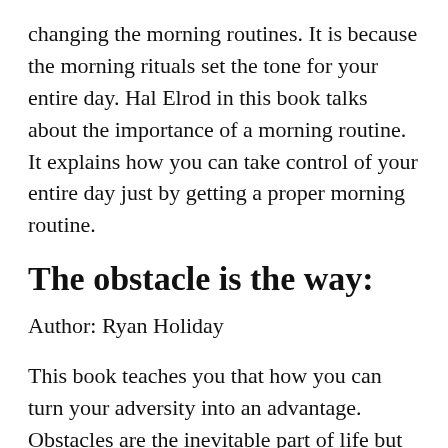changing the morning routines. It is because the morning rituals set the tone for your entire day. Hal Elrod in this book talks about the importance of a morning routine. It explains how you can take control of your entire day just by getting a proper morning routine.
The obstacle is the way:
Author: Ryan Holiday
This book teaches you that how you can turn your adversity into an advantage. Obstacles are the inevitable part of life but reacting to them is completely under your control. You can lean into the obstacles and find the best way to overcome them.